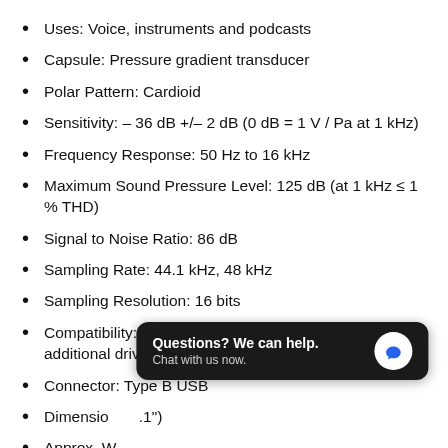Uses: Voice, instruments and podcasts
Capsule: Pressure gradient transducer
Polar Pattern: Cardioid
Sensitivity: – 36 dB +/– 2 dB (0 dB = 1 V / Pa at 1 kHz)
Frequency Response: 50 Hz to 16 kHz
Maximum Sound Pressure Level: 125 dB (at 1 kHz ≤ 1 % THD)
Signal to Noise Ratio: 86 dB
Sampling Rate: 44.1 kHz, 48 kHz
Sampling Resolution: 16 bits
Compatibility: Windows and Mac OS X, without additional driver
Connector: Type B USB
Dimensions: … (…1")
Approx. Weight: 0lbs 0oz